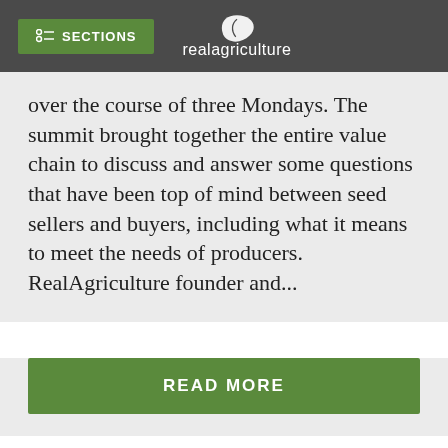SECTIONS realagriculture
over the course of three Mondays. The summit brought together the entire value chain to discuss and answer some questions that have been top of mind between seed sellers and buyers, including what it means to meet the needs of producers. RealAgriculture founder and...
READ MORE